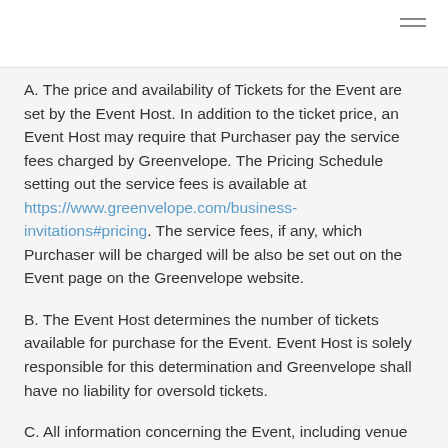A. The price and availability of Tickets for the Event are set by the Event Host. In addition to the ticket price, an Event Host may require that Purchaser pay the service fees charged by Greenvelope. The Pricing Schedule setting out the service fees is available at https://www.greenvelope.com/business-invitations#pricing. The service fees, if any, which Purchaser will be charged will be also be set out on the Event page on the Greenvelope website.
B. The Event Host determines the number of tickets available for purchase for the Event. Event Host is solely responsible for this determination and Greenvelope shall have no liability for oversold tickets.
C. All information concerning the Event, including venue seating charts is provided by the Event Host and is not independently confirmed by Greenvelope. Event Host is solely responsible for this information and Greenvelope shall have no liability for any misrepresentation or inaccuracy in such information.